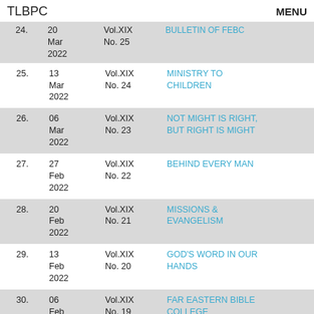TLBPC   MENU
| # | Date | Vol/No | Title |
| --- | --- | --- | --- |
| 24. | 20 Mar 2022 | Vol.XIX No. 25 | BULLETIN OF FEBC |
| 25. | 13 Mar 2022 | Vol.XIX No. 24 | MINISTRY TO CHILDREN |
| 26. | 06 Mar 2022 | Vol.XIX No. 23 | NOT MIGHT IS RIGHT, BUT RIGHT IS MIGHT |
| 27. | 27 Feb 2022 | Vol.XIX No. 22 | BEHIND EVERY MAN |
| 28. | 20 Feb 2022 | Vol.XIX No. 21 | MISSIONS & EVANGELISM |
| 29. | 13 Feb 2022 | Vol.XIX No. 20 | GOD'S WORD IN OUR HANDS |
| 30. | 06 Feb 2022 | Vol.XIX No. 19 | FAR EASTERN BIBLE COLLEGE |